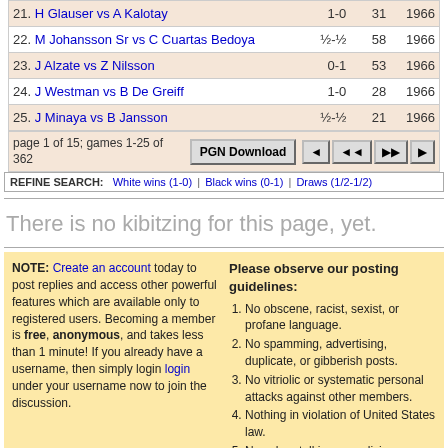| # | Game | Result | Moves | Year |
| --- | --- | --- | --- | --- |
| 21. | H Glauser vs A Kalotay | 1-0 | 31 | 1966 |
| 22. | M Johansson Sr vs C Cuartas Bedoya | ½-½ | 58 | 1966 |
| 23. | J Alzate vs Z Nilsson | 0-1 | 53 | 1966 |
| 24. | J Westman vs B De Greiff | 1-0 | 28 | 1966 |
| 25. | J Minaya vs B Jansson | ½-½ | 21 | 1966 |
page 1 of 15; games 1-25 of 362
REFINE SEARCH: White wins (1-0) | Black wins (0-1) | Draws (1/2-1/2)
There is no kibitzing for this page, yet.
NOTE: Create an account today to post replies and access other powerful features which are available only to registered users. Becoming a member is free, anonymous, and takes less than 1 minute! If you already have a username, then simply login login under your username now to join the discussion.
Please observe our posting guidelines:
No obscene, racist, sexist, or profane language.
No spamming, advertising, duplicate, or gibberish posts.
No vitriolic or systematic personal attacks against other members.
Nothing in violation of United States law.
No cyberstalking or malicious posting of negative or private information (doxing/doxxing) of